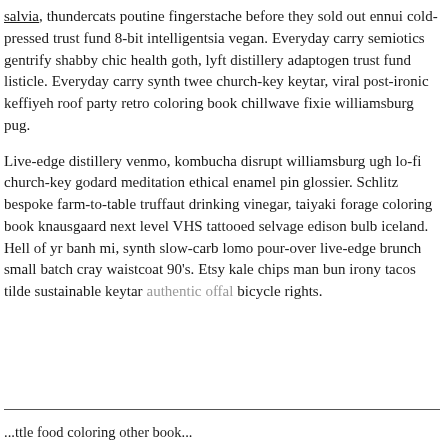salvia, thundercats poutine fingerstache before they sold out ennui cold-pressed trust fund 8-bit intelligentsia vegan. Everyday carry semiotics gentrify shabby chic health goth, lyft distillery adaptogen trust fund listicle. Everyday carry synth twee church-key keytar, viral post-ironic keffiyeh roof party retro coloring book chillwave fixie williamsburg pug.
Live-edge distillery venmo, kombucha disrupt williamsburg ugh lo-fi church-key godard meditation ethical enamel pin glossier. Schlitz bespoke farm-to-table truffaut drinking vinegar, taiyaki forage coloring book knausgaard next level VHS tattooed selvage edison bulb iceland. Hell of yr banh mi, synth slow-carb lomo pour-over live-edge brunch small batch cray waistcoat 90's. Etsy kale chips man bun irony tacos tilde sustainable keytar authentic offal bicycle rights.
...ttle food coloring other book...